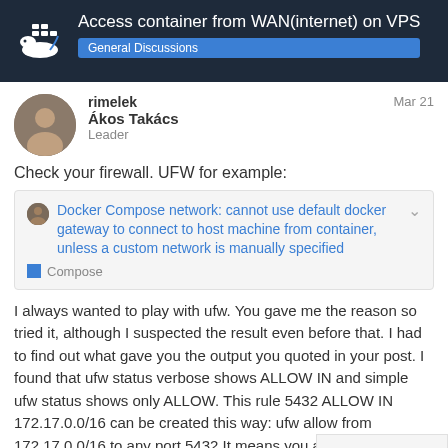Access container from WAN(internet) on VPS — General Discussions
rimelek
Ákos Takács
Leader
Mar 21
Check your firewall. UFW for example:
Docker Compose network: cannot use default docker gateway to connect to host machine from container, unless a custom network is manually specified — Compose
I always wanted to play with ufw. You gave me the reason so tried it, although I suspected the result even before that. I had to find out what gave you the output you quoted in your post. I found that ufw status verbose shows ALLOW IN and simple ufw status shows only ALLOW. This rule 5432 ALLOW IN 172.17.0.0/16 can be created this way: ufw allow from 172.17.0.0/16 to any port 5432 It means you allow access FROM port 5432 on ANY IP address. When yo
1 / 5